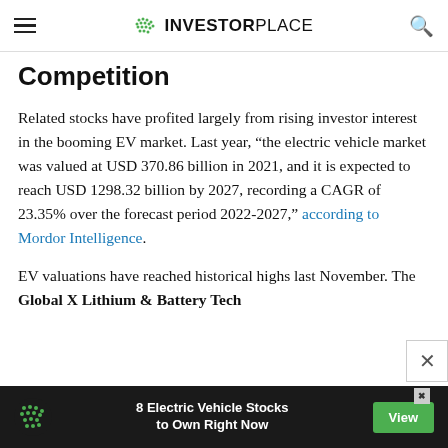INVESTORPLACE
Competition
Related stocks have profited largely from rising investor interest in the booming EV market. Last year, “the electric vehicle market was valued at USD 370.86 billion in 2021, and it is expected to reach USD 1298.32 billion by 2027, recording a CAGR of 23.35% over the forecast period 2022-2027,” according to Mordor Intelligence.
EV valuations have reached historical highs last November. The Global X Lithium & Battery Tech